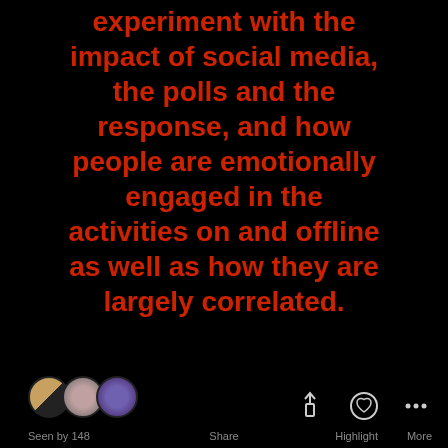experiment with the impact of social media, the polls and the response, and how people are emotionally engaged in the activities on and offline as well as how they are largely correlated.
[Figure (screenshot): Social media story bottom bar with three user avatars on the left, share icon, highlight icon with heart, and more (ellipsis) icon on the right. Labels: Seen by 148, Share, Highlight, More.]